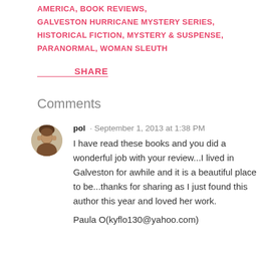AMERICA, BOOK REVIEWS, GALVESTON HURRICANE MYSTERY SERIES, HISTORICAL FICTION, MYSTERY & SUSPENSE, PARANORMAL, WOMAN SLEUTH
SHARE
Comments
pol · September 1, 2013 at 1:38 PM
I have read these books and you did a wonderful job with your review...I lived in Galveston for awhile and it is a beautiful place to be...thanks for sharing as I just found this author this year and loved her work.

Paula O(kyflo130@yahoo.com)